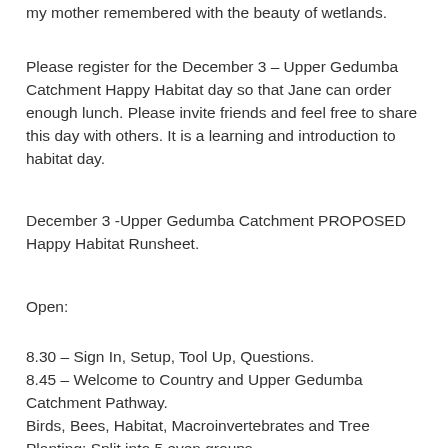my mother remembered with the beauty of wetlands.
Please register for the December 3 – Upper Gedumba Catchment Happy Habitat day so that Jane can order enough lunch. Please invite friends and feel free to share this day with others. It is a learning and introduction to habitat day.
December 3 -Upper Gedumba Catchment PROPOSED Happy Habitat Runsheet.
Open:
8.30 – Sign In, Setup, Tool Up, Questions.
8.45 – Welcome to Country and Upper Gedumba Catchment Pathway.
Birds, Bees, Habitat, Macroinvertebrates and Tree Planting: Split into 5 even groups.
9.00 – Group Session 1
9.40 – Group Session 2